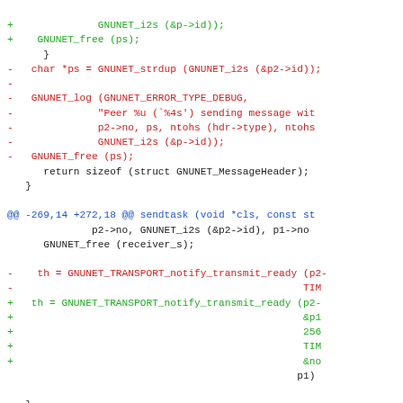[Figure (screenshot): A code diff showing changes to GNUnet transport code. Lines prefixed with + are added (green), lines prefixed with - are removed (red), and context lines are black. A hunk header in blue shows @@ -269,14 +272,18 @@ sendtask. Changes involve GNUNET_TRANSPORT_notify_transmit_ready calls and removal of debug logging.]